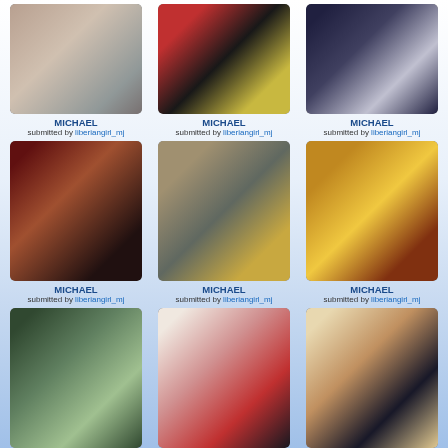[Figure (photo): Grid of photos labeled MICHAEL submitted by liberiangirl_mj - row 1: three photos of Michael Jackson]
MICHAEL
submitted by liberiangirl_mj
MICHAEL
submitted by liberiangirl_mj
MICHAEL
submitted by liberiangirl_mj
[Figure (photo): Row 2: three more photos of Michael Jackson]
MICHAEL
submitted by liberiangirl_mj
MICHAEL
submitted by liberiangirl_mj
MICHAEL
submitted by liberiangirl_mj
[Figure (photo): Row 3: three more photos of Michael Jackson]
MICHAEL
submitted by liberiangirl_mj
MICHAEL
submitted by liberiangirl_mj
MICHAEL
submitted by liberiangirl_mj
[Figure (photo): Row 4 partial: three more photos of Michael Jackson (cropped at bottom)]